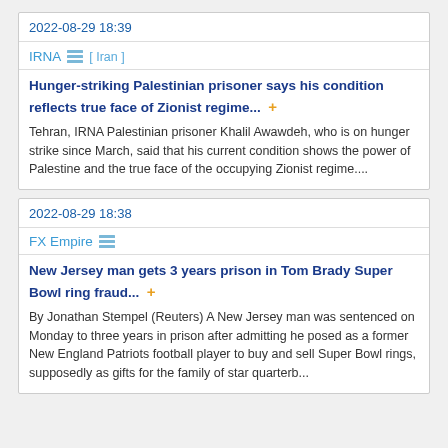2022-08-29 18:39
IRNA [ Iran ]
Hunger-striking Palestinian prisoner says his condition reflects true face of Zionist regime... +
Tehran, IRNA Palestinian prisoner Khalil Awawdeh, who is on hunger strike since March, said that his current condition shows the power of Palestine and the true face of the occupying Zionist regime....
2022-08-29 18:38
FX Empire
New Jersey man gets 3 years prison in Tom Brady Super Bowl ring fraud... +
By Jonathan Stempel (Reuters) A New Jersey man was sentenced on Monday to three years in prison after admitting he posed as a former New England Patriots football player to buy and sell Super Bowl rings, supposedly as gifts for the family of star quarterb...